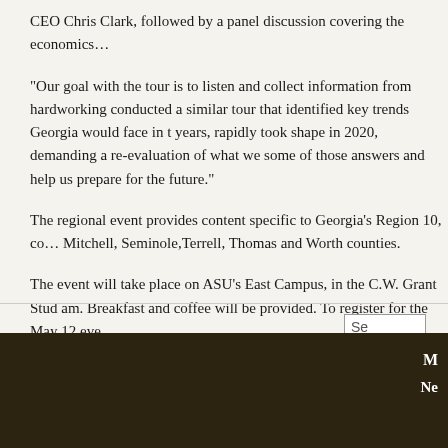CEO Chris Clark, followed by a panel discussion covering the economics...
“Our goal with the tour is to listen and collect information from hardworking conducted a similar tour that identified key trends Georgia would face in the years, rapidly took shape in 2020, demanding a re-evaluation of what we some of those answers and help us prepare for the future.”
The regional event provides content specific to Georgia's Region 10, com Mitchell, Seminole, Terrell, Thomas and Worth counties.
The event will take place on ASU's East Campus, in the C.W. Grant Stud am. Breakfast and coffee will be provided. To register for the May 12 eve
This entry was posted in Chamber News, News & Publications and tagge
M
Ne